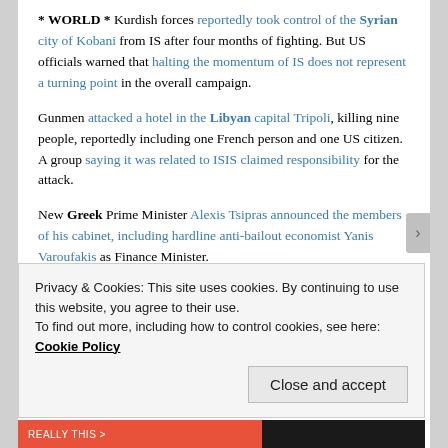* WORLD * Kurdish forces reportedly took control of the Syrian city of Kobani from IS after four months of fighting. But US officials warned that halting the momentum of IS does not represent a turning point in the overall campaign.
Gunmen attacked a hotel in the Libyan capital Tripoli, killing nine people, reportedly including one French person and one US citizen. A group saying it was related to ISIS claimed responsibility for the attack.
New Greek Prime Minister Alexis Tsipras announced the members of his cabinet, including hardline anti-bailout economist Yanis Varoufakis as Finance Minister.
Privacy & Cookies: This site uses cookies. By continuing to use this website, you agree to their use. To find out more, including how to control cookies, see here: Cookie Policy